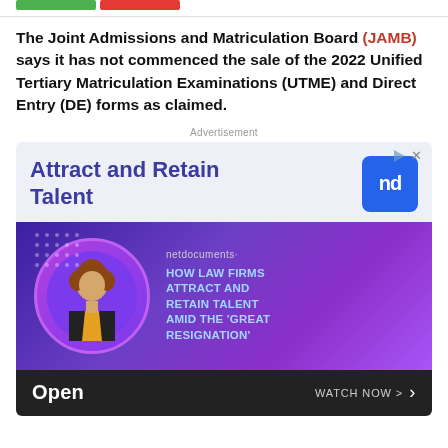The Joint Admissions and Matriculation Board (JAMB) says it has not commenced the sale of the 2022 Unified Tertiary Matriculation Examinations (UTME) and Direct Entry (DE) forms as claimed.
Advertisement
[Figure (infographic): Advertisement banner for netdocuments: 'Attract and Retain Talent' with nd logo, image of a woman in a purple circle, and text 'HOW LAW FIRMS ATTRACT AND RETAIN TALENT AMID THE GREAT RESIGNATION' with 'WATCH NOW >' button]